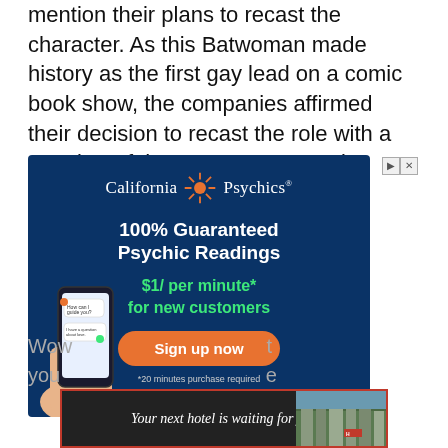mention their plans to recast the character. As this Batwoman made history as the first gay lead on a comic book show, the companies affirmed their decision to recast the role with a member of the LGBTQ community.
[Figure (infographic): California Psychics advertisement banner. Dark blue background. Logo reads 'California Psychics' with an orange starburst icon. Headline: '100% Guaranteed Psychic Readings'. Subtext in green: '$1/ per minute* for new customers'. Orange button: 'Sign up now'. Disclaimer: '*20 minutes purchase required'. Left side shows an illustrated hand holding a smartphone.]
Wow... at you ... e
[Figure (infographic): Hotel booking advertisement banner. Dark background with a hotel/city photo on the right. Text reads 'Your next hotel is waiting for you' in italic white font. Red border around banner.]